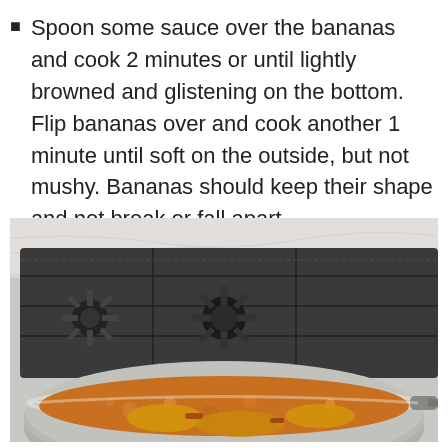Spoon some sauce over the bananas and cook 2 minutes or until lightly browned and glistening on the bottom. Flip bananas over and cook another 1 minute until soft on the outside, but not mushy. Bananas should keep their shape and not break or fall apart.
[Figure (photo): A stainless steel pan with bananas cooking in a bubbling caramel sauce, shown close-up in the foreground, with a gas stovetop visible in the background on a marble countertop.]